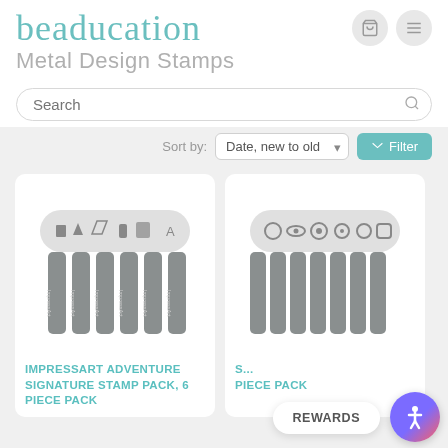[Figure (logo): beaducation logo in teal script font with cart and menu icons]
Metal Design Stamps
Search
Sort by: Date, new to old | Filter
[Figure (photo): ImpressArt Adventure Signature Stamp Pack, 6 piece set - metal stamps shown in holder and laid out]
IMPRESSART ADVENTURE SIGNATURE STAMP PACK, 6 PIECE PACK
[Figure (photo): Second stamp pack product - metal stamps shown in holder and laid out]
S... PIECE PACK
REWARDS